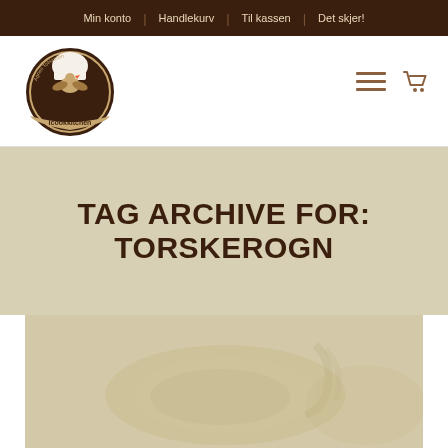Min konto | Handlekurv | Til kassen | Det skjer!
[Figure (logo): iCookKitchen circular logo with chef hat and rooster illustration, dark brown and cream colors]
TAG ARCHIVE FOR: TORSKEROGN
[Figure (photo): Faded food photograph showing a plate with fish roe dish, very light/washed out appearance on beige background]